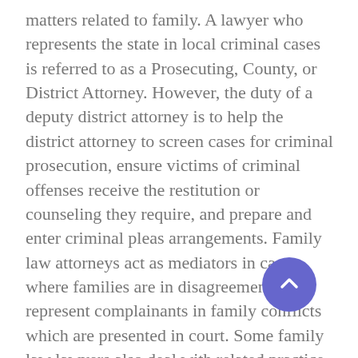matters related to family. A lawyer who represents the state in local criminal cases is referred to as a Prosecuting, County, or District Attorney. However, the duty of a deputy district attorney is to help the district attorney to screen cases for criminal prosecution, ensure victims of criminal offenses receive the restitution or counseling they require, and prepare and enter criminal pleas arrangements. Family law attorneys act as mediators in cases where families are in disagreement and represent complainants in family conflicts which are presented in court. Some family law lawyers also deal with related practice areas such as, estate planning, immigration and naturalization law, and mediation and collaborative law. As implied, family lawyers deal with matters that impact on families, and they seek to obtain the best interests of the parties involved. Because family law problems affect people very